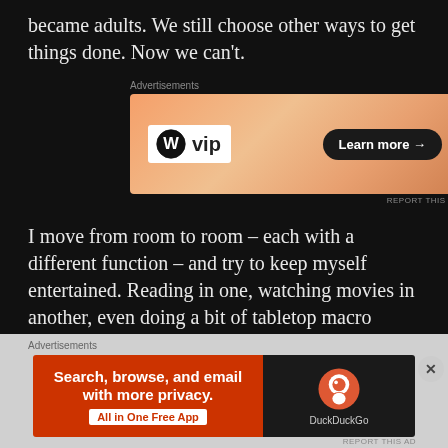became adults.  We still choose other ways to get things done.  Now we can't.
[Figure (screenshot): WordPress VIP advertisement banner with orange gradient background, WP VIP logo on left and 'Learn more →' button on right]
I move from room to room – each with a different function – and try to keep myself entertained.  Reading in one, watching movies in another, even doing a bit of tabletop macro photography in yet another.  I also plan the home improvements I hope to make sometime this year and tinker with a few home repairs myself.
It's still too cold to work in the garden and too muddy
[Figure (screenshot): DuckDuckGo advertisement banner: red left section with 'Search, browse, and email with more privacy. All in One Free App' and dark right section with DuckDuckGo logo]